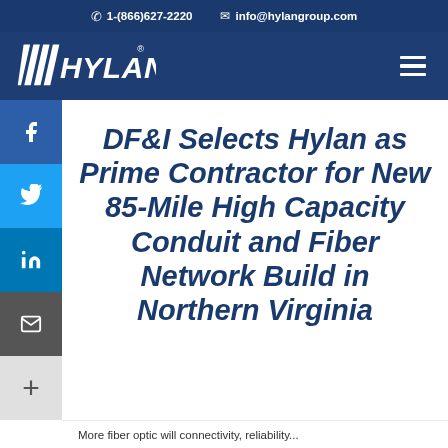1-(866)627-2220  info@hylangroup.com
[Figure (logo): Hylan company logo — white slanted lines and HYLAN text on dark navy background]
DF&I Selects Hylan as Prime Contractor for New 85-Mile High Capacity Conduit and Fiber Network Build in Northern Virginia
More fiber optic will connectivity, reliability...